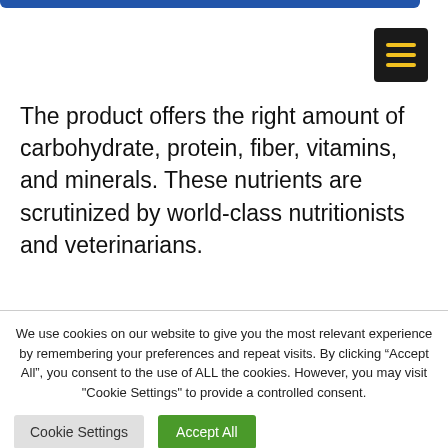[Figure (other): Blue navigation bar at top of page]
[Figure (other): Hamburger menu button (black background with three yellow horizontal lines)]
The product offers the right amount of carbohydrate, protein, fiber, vitamins, and minerals. These nutrients are scrutinized by world-class nutritionists and veterinarians.
We use cookies on our website to give you the most relevant experience by remembering your preferences and repeat visits. By clicking “Accept All”, you consent to the use of ALL the cookies. However, you may visit "Cookie Settings" to provide a controlled consent.